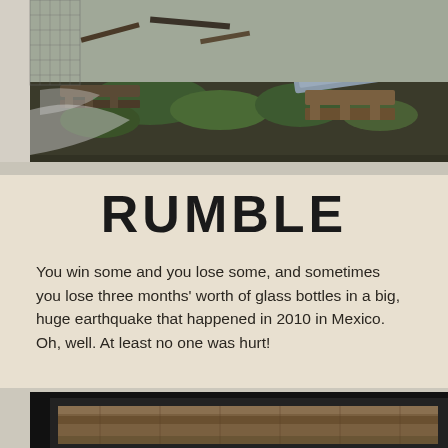[Figure (photo): Earthquake damage debris: collapsed pallets, scattered green plants, broken materials, plastic sheeting, and a large metal tray/panel visible among rubble outdoors]
RUMBLE
You win some and you lose some, and sometimes you lose three months' worth of glass bottles in a big, huge earthquake that happened in 2010 in Mexico. Oh, well. At least no one was hurt!
[Figure (photo): Partially visible photo at bottom of page showing wooden planks/fence structure with black border frame, cropped at page edge]